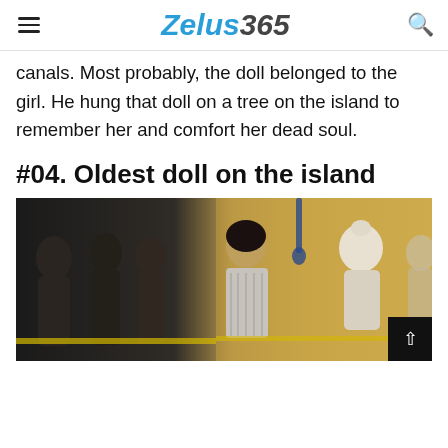Zelus365
canals. Most probably, the doll belonged to the girl. He hung that doll on a tree on the island to remember her and comfort her dead soul.
#04. Oldest doll on the island
[Figure (photo): Photo of old dolls on the Island of the Dolls (Isla de las Munecas), showing dark weathered doll figures on the left and colorful ornate dolls on a wooden background on the right.]